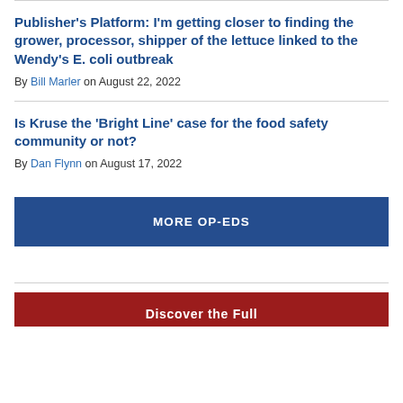Publisher's Platform: I'm getting closer to finding the grower, processor, shipper of the lettuce linked to the Wendy's E. coli outbreak
By Bill Marler on August 22, 2022
Is Kruse the 'Bright Line' case for the food safety community or not?
By Dan Flynn on August 17, 2022
MORE OP-EDS